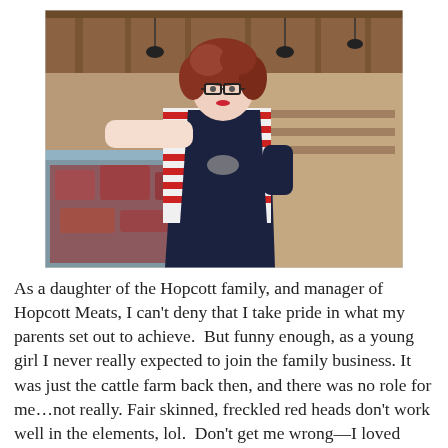[Figure (photo): A woman with red curly hair and glasses, wearing a black apron over a red and white striped shirt, standing confidently in front of a meat display case in a butcher shop or grocery store. She has her hand on her hip. The store interior shows wooden ceiling beams, pendant lights, and additional display cases in the background.]
As a daughter of the Hopcott family, and manager of Hopcott Meats, I can't deny that I take pride in what my parents set out to achieve.  But funny enough, as a young girl I never really expected to join the family business. It was just the cattle farm back then, and there was no role for me…not really. Fair skinned, freckled red heads don't work well in the elements, lol.  Don't get me wrong—I loved